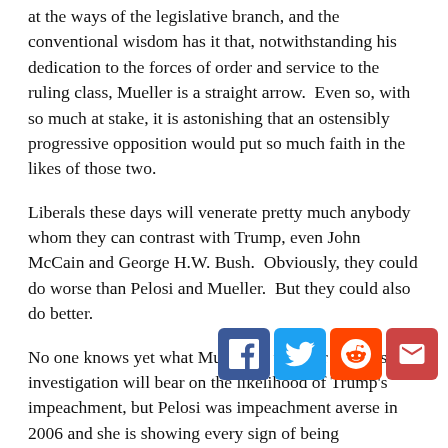at the ways of the legislative branch, and the conventional wisdom has it that, notwithstanding his dedication to the forces of order and service to the ruling class, Mueller is a straight arrow.  Even so, with so much at stake, it is astonishing that an ostensibly progressive opposition would put so much faith in the likes of those two.
Liberals these days will venerate pretty much anybody whom they can contrast with Trump, even John McCain and George H.W. Bush.  Obviously, they could do worse than Pelosi and Mueller.  But they could also do better.
No one knows yet what Mueller is up to or how his investigation will bear on the likelihood of Trump's impeachment, but Pelosi was impeachment averse in 2006 and she is showing every sign of being impeachment averse again today.
Had she let Democrats go forward with impeachment